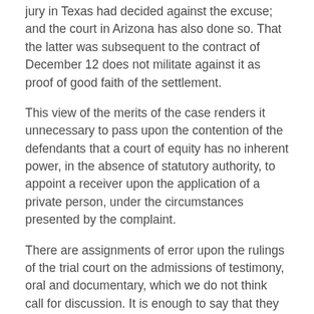jury in Texas had decided against the excuse; and the court in Arizona has also done so. That the latter was subsequent to the contract of December 12 does not militate against it as proof of good faith of the settlement.
This view of the merits of the case renders it unnecessary to pass upon the contention of the defendants that a court of equity has no inherent power, in the absence of statutory authority, to appoint a receiver upon the application of a private person, under the circumstances presented by the complaint.
There are assignments of error upon the rulings of the trial court on the admissions of testimony, oral and documentary, which we do not think call for discussion. It is enough to say that they are not well taken. [200 U.S. 239, 248]  There is also an assignment of error upon the refusal of the supreme court to make certain findings of fact. We think the findings made substantially cover those proposed; certainly to the